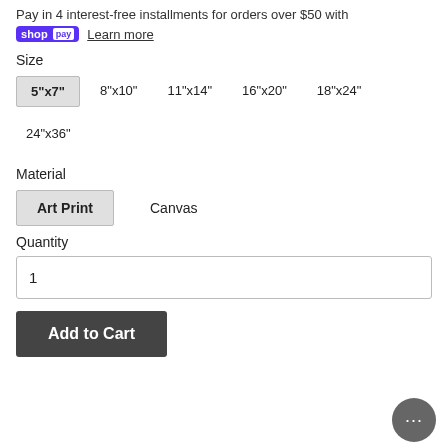Pay in 4 interest-free installments for orders over $50 with shop Pay Learn more
Size
5"x7"
8"x10"
11"x14"
16"x20"
18"x24"
24"x36"
Material
Art Print
Canvas
Quantity
1
Add to Cart